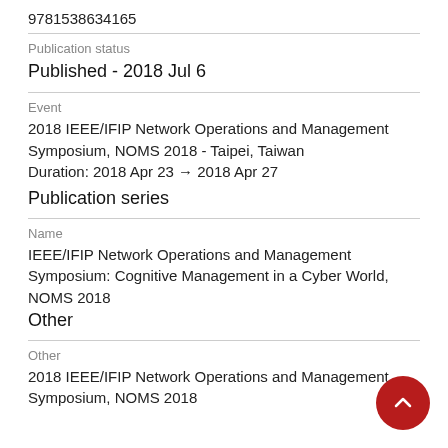9781538634165
Publication status
Published - 2018 Jul 6
Event
2018 IEEE/IFIP Network Operations and Management Symposium, NOMS 2018 - Taipei, Taiwan
Duration: 2018 Apr 23 → 2018 Apr 27
Publication series
Name
IEEE/IFIP Network Operations and Management Symposium: Cognitive Management in a Cyber World, NOMS 2018
Other
Other
2018 IEEE/IFIP Network Operations and Management Symposium, NOMS 2018